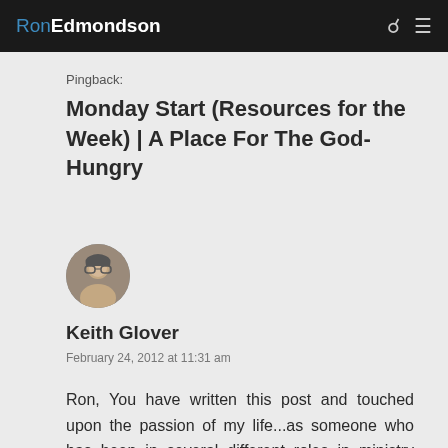RonEdmondson
Pingback:
Monday Start (Resources for the Week) | A Place For The God-Hungry
[Figure (photo): Circular avatar photo of Keith Glover, a man with glasses]
Keith Glover
February 24, 2012 at 11:31 am
Ron, You have written this post and touched upon the passion of my life...as someone who has been in several different roles in ministry leadership, I understand. My life's mission is to be an encouragement to